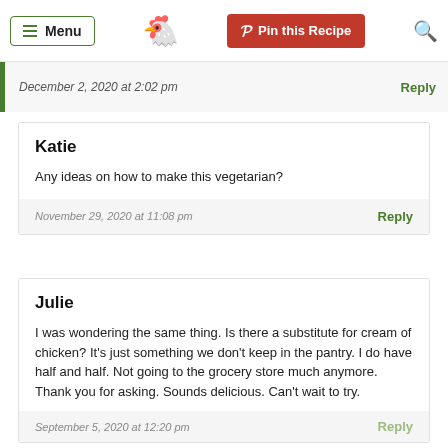Menu | Pin this Recipe | [search]
December 2, 2020 at 2:02 pm
Reply
Katie
Any ideas on how to make this vegetarian?
November 29, 2020 at 11:08 pm
Reply
Julie
I was wondering the same thing. Is there a substitute for cream of chicken? It’s just something we don’t keep in the pantry. I do have half and half. Not going to the grocery store much anymore. Thank you for asking. Sounds delicious. Can’t wait to try.
September 5, 2020 at 12:20 pm
Reply